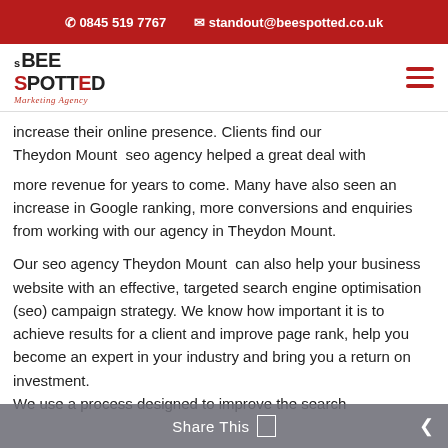0845 519 7767   standout@beespotted.co.uk
[Figure (logo): Bee Spotted marketing agency logo with red and black text and italic red cursive tagline]
increase their online presence. Clients find our Theydon Mount  seo agency helped a great deal with
more revenue for years to come. Many have also seen an increase in Google ranking, more conversions and enquiries from working with our agency in Theydon Mount.
Our seo agency Theydon Mount  can also help your business website with an effective, targeted search engine optimisation (seo) campaign strategy. We know how important it is to achieve results for a client and improve page rank, help you become an expert in your industry and bring you a return on investment.
We use a process designed to improve the search